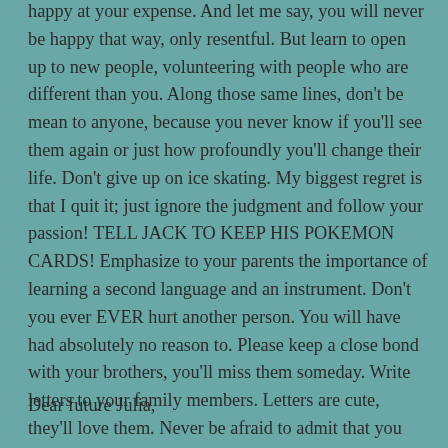happy at your expense. And let me say, you will never be happy that way, only resentful. But learn to open up to new people, volunteering with people who are different than you. Along those same lines, don't be mean to anyone, because you never know if you'll see them again or just how profoundly you'll change their life. Don't give up on ice skating. My biggest regret is that I quit it; just ignore the judgment and follow your passion! TELL JACK TO KEEP HIS POKEMON CARDS! Emphasize to your parents the importance of learning a second language and an instrument. Don't you ever EVER hurt another person. You will have had absolutely no reason to. Please keep a close bond with your brothers, you'll miss them someday. Write letters to your family members. Letters are cute, they'll love them. Never be afraid to admit that you don't know something, and always love yourself. Love, future.
Dear future Julia,